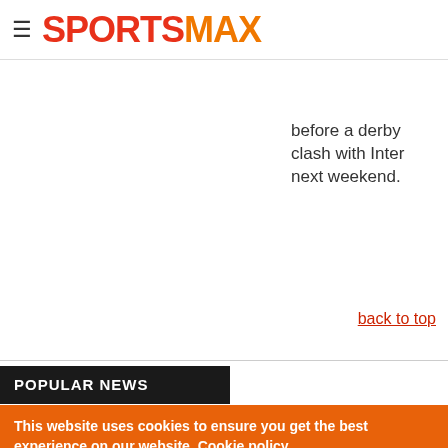≡ SPORTSMAX
before a derby clash with Inter next weekend.
back to top
POPULAR NEWS
This website uses cookies to ensure you get the best experience on our website. Cookie policy Privacy policy
Decline | Allow cookies